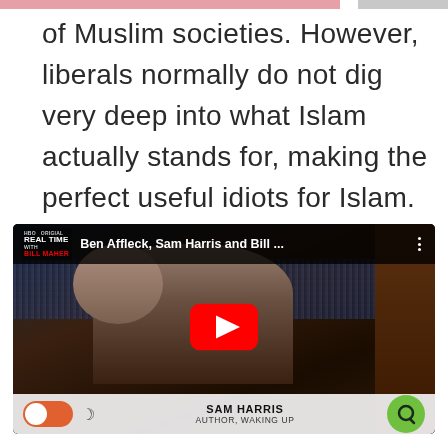of Muslim societies. However, liberals normally do not dig very deep into what Islam actually stands for, making the perfect useful idiots for Islam.
[Figure (screenshot): YouTube video thumbnail showing a man in a dark suit (Sam Harris) on the Real Time with Bill Maher show. The video title reads 'Ben Affleck, Sam Harris and Bill ...' with a YouTube play button overlay. Bottom bar shows a toggle switch, moon icon, and the lower-third chyron reading 'SAM HARRIS / AUTHOR, WAKING UP'. A green Quora button appears in the bottom right corner.]